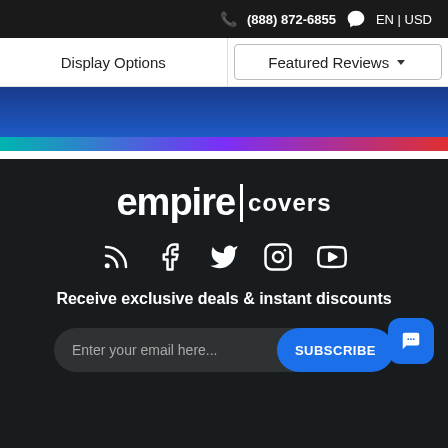(888) 872-6855  EN | USD
Display Options
Featured Reviews
[Figure (screenshot): Empire Covers website footer with gradient divider, company logo, social media icons, and email subscription bar]
empire covers
Receive exclusive deals & instant discounts
Enter your email here...  SUBSCRIBE